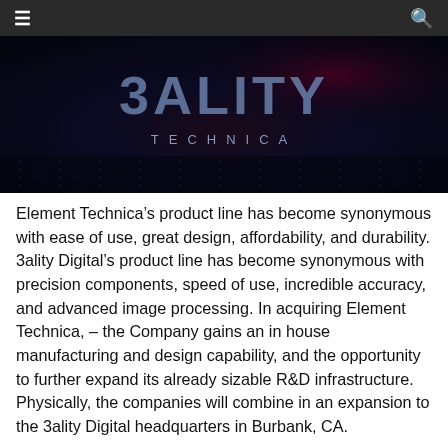≡  [Navigation bar with hamburger menu and search icon]
[Figure (photo): 3ality Technica logo on dark background with digital grid/dot matrix effect. Shows stylized text 'SALITY' (or 3ALITY) above 'TECHNICA' in spaced capital letters, on a dark blue-black starfield/grid background.]
Element Technica's product line has become synonymous with ease of use, great design, affordability, and durability. 3ality Digital's product line has become synonymous with precision components, speed of use, incredible accuracy, and advanced image processing. In acquiring Element Technica, – the Company gains an in house manufacturing and design capability, and the opportunity to further expand its already sizable R&D infrastructure. Physically, the companies will combine in an expansion to the 3ality Digital headquarters in Burbank, CA.